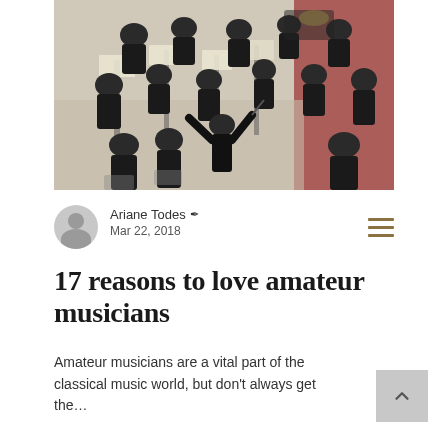[Figure (photo): Overhead view of an orchestra performing, musicians in black attire, conductor visible from behind directing the ensemble on a concert stage]
Ariane Todes ✒ Mar 22, 2018
17 reasons to love amateur musicians
Amateur musicians are a vital part of the classical music world, but don't always get the…